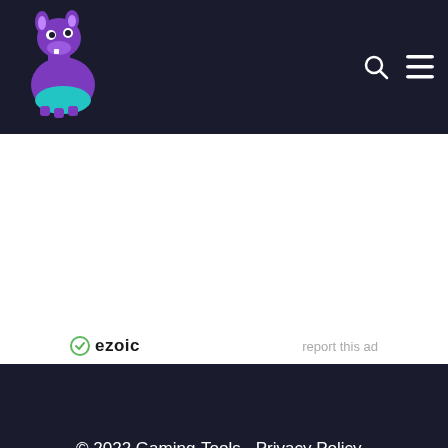[Figure (logo): Purple llama mascot logo for Gaming-Tools website, top left of dark header nav bar with search icon and hamburger menu icon on the right]
[Figure (other): Ezoic advertisement area with ezoic logo and 'report this ad' link in bottom right]
© 2022 Gaming-Tools - Privacy Policy - Contact